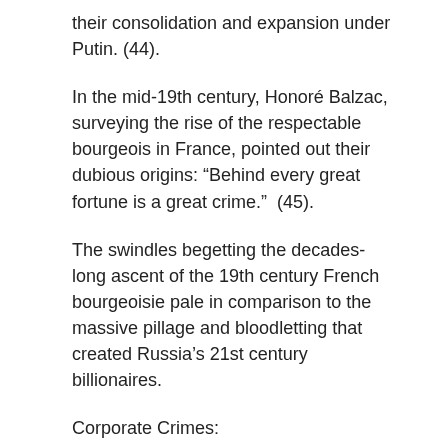their consolidation and expansion under Putin. (44).
In the mid-19th century, Honoré Balzac, surveying the rise of the respectable bourgeois in France, pointed out their dubious origins: “Behind every great fortune is a great crime.”  (45).
The swindles begetting the decades-long ascent of the 19th century French bourgeoisie pale in comparison to the massive pillage and bloodletting that created Russia’s 21st century billionaires.
Corporate Crimes:
Bhopal, Pesticides and DOW offer perhaps the most succinct and poignant example of